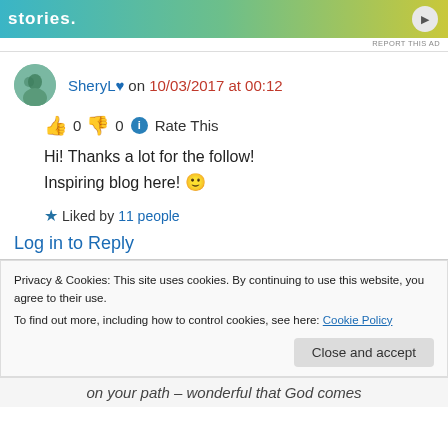[Figure (photo): Ad banner with text 'stories.' and a circular icon on the right, gradient background of teal to yellow-green]
REPORT THIS AD
SheryL♥ on 10/03/2017 at 00:12
👍 0 👎 0 ℹ Rate This
Hi! Thanks a lot for the follow!
Inspiring blog here! 🙂
★ Liked by 11 people
Log in to Reply
Privacy & Cookies: This site uses cookies. By continuing to use this website, you agree to their use.
To find out more, including how to control cookies, see here: Cookie Policy
Close and accept
on your path – wonderful that God comes